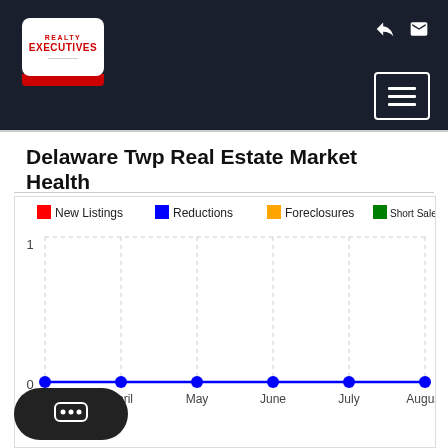Realty Executives
Delaware Twp Real Estate Market Health
[Figure (line-chart): Delaware Twp Real Estate Market Health]